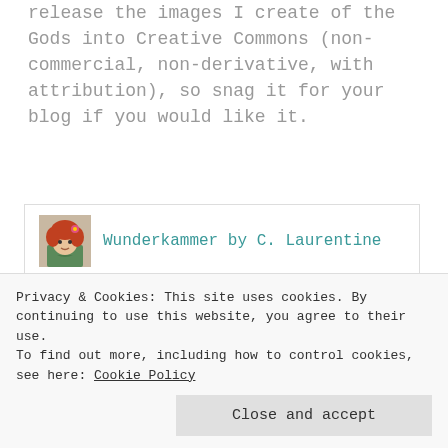release the images I create of the Gods into Creative Commons (non-commercial, non-derivative, with attribution), so snag it for your blog if you would like it.
Wunderkammer by C. Laurentine
[Figure (illustration): Digital illustration of a figure with purple/blue feathered wings and flowing golden hair against a cloudy sky background]
I re ce iv ed
Privacy & Cookies: This site uses cookies. By continuing to use this website, you agree to their use.
To find out more, including how to control cookies, see here: Cookie Policy
Close and accept